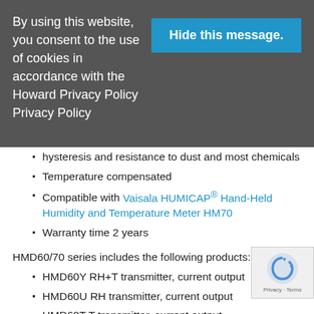By using this website, you consent to the use of cookies in accordance with the Howard Privacy Policy Privacy Policy
Hide this message.
hysteresis and resistance to dust and most chemicals
Temperature compensated
Compatible with Vaisala HUMICAP® Hand-Held Humidity and Temperature Meter HM70
Warranty time 2 years
HMD60/70 series includes the following products:
HMD60Y RH+T transmitter, current output
HMD60U RH transmitter, current output
HMD60T T transmitter, current output
HMD70Y RH+T transmitter, voltage output
HMD70U RH transmitter, voltage output